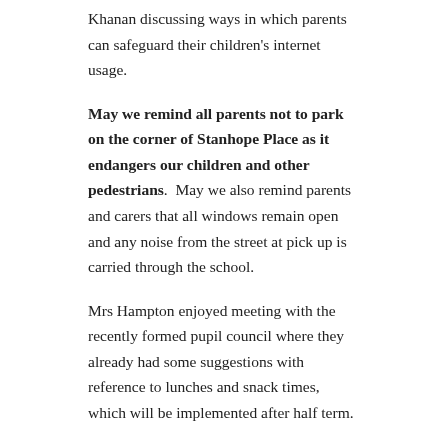Khanan discussing ways in which parents can safeguard their children's internet usage.
May we remind all parents not to park on the corner of Stanhope Place as it endangers our children and other pedestrians. May we also remind parents and carers that all windows remain open and any noise from the street at pick up is carried through the school.
Mrs Hampton enjoyed meeting with the recently formed pupil council where they already had some suggestions with reference to lunches and snack times, which will be implemented after half term.
To reflect National Smile Month, next Thursday we have Dr Kyi, from the West London Orthodontics, joining the Junior Assembly for a virtual talk about